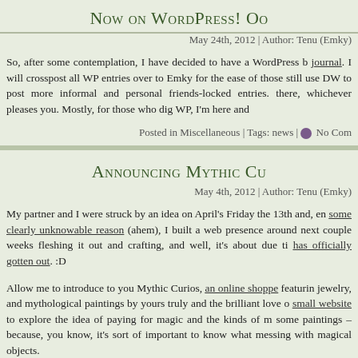Now on WordPress! Oo…
May 24th, 2012 | Author: Tenu (Emky)
So, after some contemplation, I have decided to have a WordPress b… journal. I will crosspost all WP entries over to Emky for the ease of those still use DW to post more informal and personal friends-locked entries. there, whichever pleases you. Mostly, for those who dig WP, I'm here and
Posted in Miscellaneous | Tags: news | No Com…
Announcing Mythic Cu…
May 4th, 2012 | Author: Tenu (Emky)
My partner and I were struck by an idea on April's Friday the 13th and, en some clearly unknowable reason (ahem), I built a web presence around next couple weeks fleshing it out and crafting, and well, it's about due ti has officially gotten out. :D
Allow me to introduce to you Mythic Curios, an online shoppe featurin jewelry, and mythological paintings by yours truly and the brilliant love o small website to explore the idea of paying for magic and the kinds of m some paintings – because, you know, it's sort of important to know what messing with magical objects.